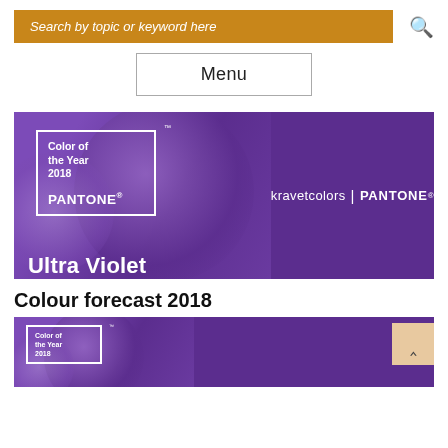Search by topic or keyword here
Menu
[Figure (illustration): Pantone Color of the Year 2018 Ultra Violet banner image with kravetcolors | PANTONE branding on purple background]
Colour forecast 2018
[Figure (illustration): Pantone Color of the Year 2018 banner image partial view on purple background]